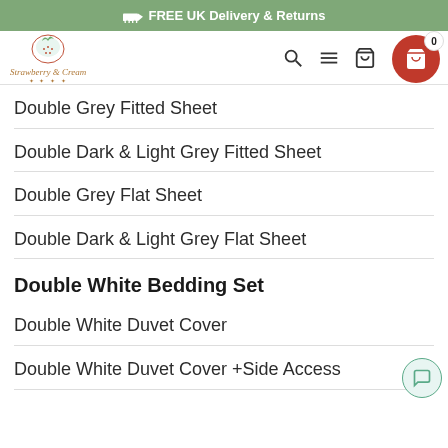FREE UK Delivery & Returns
[Figure (logo): Strawberry & Cream logo with strawberry illustration and script text]
Double Grey Fitted Sheet
Double Dark & Light Grey Fitted Sheet
Double Grey Flat Sheet
Double Dark & Light Grey Flat Sheet
Double White Bedding Set
Double White Duvet Cover
Double White Duvet Cover +Side Access